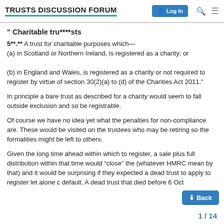TRUSTS DISCUSSION FORUM
" Charitable tru****sts
5**.**  A trust for charitable purposes which—
(a) in Scotland or Northern Ireland, is registered as a charity; or

(b) in England and Wales, is registered as a charity or not required to register by virtue of section 30(2)(a) to (d) of the Charities Act 2011."
In principle a bare trust as described for a charity would seem to fall outside exclusion and so be registrable.
Of course we have no idea yet what the penalties for non-compliance are. These would be visited on the trustees who may be retiring so the formalities might be left to others.
Given the long time ahead within which to register, a sale plus full distribution within that time would “close” the (whatever HMRC mean by that) and it would be surprising if they expected a dead trust to apply to register let alone c default. A dead trust that died before 6 Oct